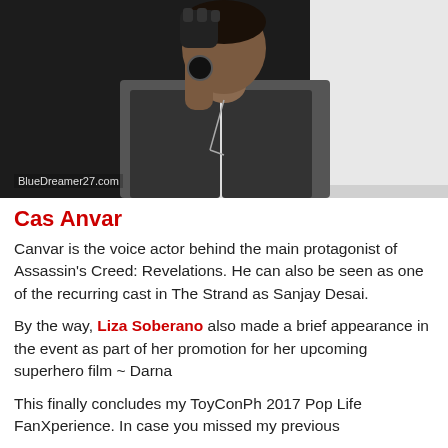[Figure (photo): A man wearing a dark vest over a white shirt and fingerless leather gloves, holding something near his chin. Watermark reads 'BlueDreamer27.com' at the bottom left.]
Cas Anvar
Canvar is the voice actor behind the main protagonist of Assassin's Creed: Revelations. He can also be seen as one of the recurring cast in The Strand as Sanjay Desai.
By the way, Liza Soberano also made a brief appearance in the event as part of her promotion for her upcoming superhero film ~ Darna
This finally concludes my ToyConPh 2017 Pop Life FanXperience. In case you missed my previous